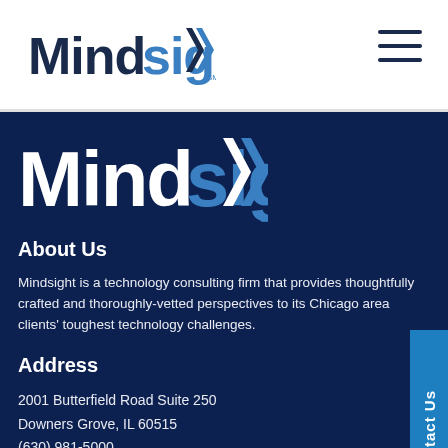[Figure (logo): Mindsight logo in navy and blue, top navigation bar, white background]
[Figure (logo): Mindsight logo large version on dark navy background]
About Us
Mindsight is a technology consulting firm that provides thoughtfully crafted and thoroughly-vetted perspectives to its Chicago area clients' toughest technology challenges.
Address
2001 Butterfield Road Suite 250
Downers Grove, IL 60515
(630) 981-5000
24/7 Technical Support and Service: